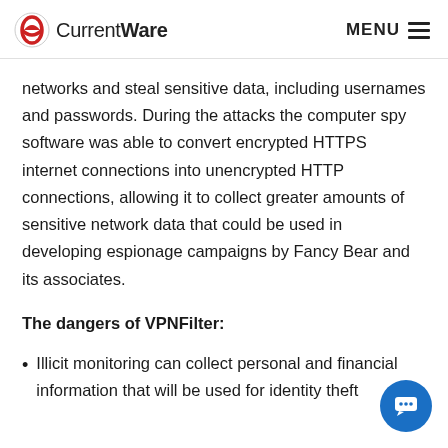CurrentWare   MENU
networks and steal sensitive data, including usernames and passwords. During the attacks the computer spy software was able to convert encrypted HTTPS internet connections into unencrypted HTTP connections, allowing it to collect greater amounts of sensitive network data that could be used in developing espionage campaigns by Fancy Bear and its associates.
The dangers of VPNFilter:
Illicit monitoring can collect personal and financial information that will be used for identity theft